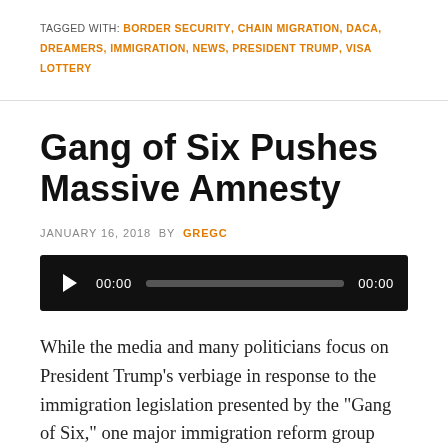TAGGED WITH: BORDER SECURITY, CHAIN MIGRATION, DACA, DREAMERS, IMMIGRATION, NEWS, PRESIDENT TRUMP, VISA LOTTERY
Gang of Six Pushes Massive Amnesty
JANUARY 16, 2018 BY GREGC
[Figure (other): Audio player widget with play button, 00:00 timestamp, progress bar, and 00:00 end time on black background]
While the media and many politicians focus on President Trump's verbiage in response to the immigration legislation presented by the "Gang of Six," one major immigration reform group says the plan itself is nothing but an amnesty